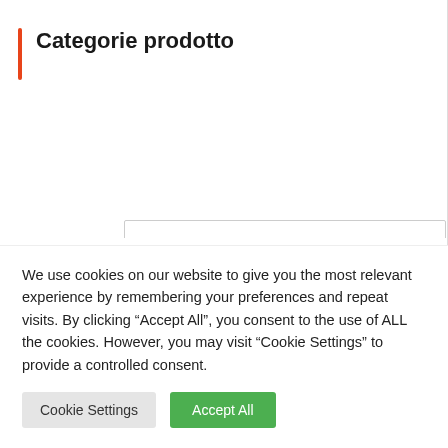Categorie prodotto
[Figure (screenshot): Dropdown selector with placeholder text 'Seleziona una categoria' and a downward arrow]
Filtra per Prezzo
[Figure (other): Price range slider with red track and two circular orange handles at both ends]
We use cookies on our website to give you the most relevant experience by remembering your preferences and repeat visits. By clicking “Accept All”, you consent to the use of ALL the cookies. However, you may visit “Cookie Settings” to provide a controlled consent.
Cookie Settings
Accept All